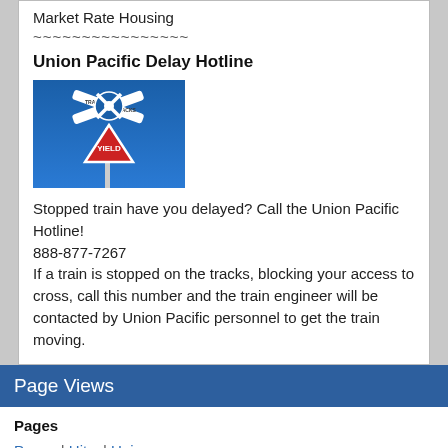Market Rate Housing
~~~~~~~~~~~~~~~~
Union Pacific Delay Hotline
[Figure (photo): Union Pacific railroad crossing sign with yield sign, blue sky background]
Stopped train have you delayed? Call the Union Pacific Hotline! 888-877-7267
If a train is stopped on the tracks, blocking your access to cross, call this number and the train engineer will be contacted by Union Pacific personnel to get the train moving.
Page Views
Pages
Pages | Hits  | Unique
Last 24 hours: 0
Last 7 days: 0
Last 30 days: 0